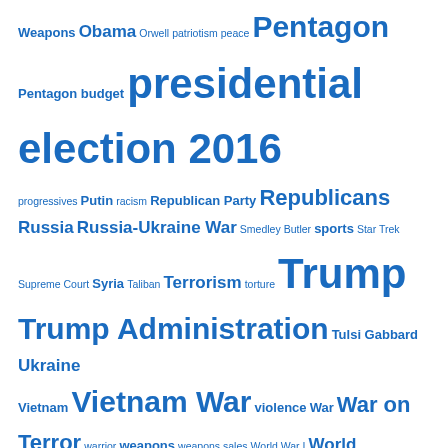[Figure (infographic): Tag cloud of political and news topics in blue text with varying font sizes, including terms like Weapons, Obama, Orwell, patriotism, peace, Pentagon, Pentagon budget, presidential election 2016, progressives, Putin, racism, Republican Party, Republicans, Russia, Russia-Ukraine War, Smedley Butler, sports, Star Trek, Supreme Court, Syria, Taliban, Terrorism, torture, Trump, Trump Administration, Tulsi Gabbard, Ukraine, Vietnam, Vietnam War, violence, War, War on Terror, warrior, weapons, weapons sales, World War I, World War II]
TOP POSTS & PAGES
Biden Tackles Student Debt -- and Misses
Vote for What You Believe In, Not for Crumbs
Bread and Circuses in Rome and America
The Betrayal of Dwight D. Eisenhower by His Own Memorial in Washington DC
Seeing the Dark Side of the Moon -- and of America
About Bracing Views